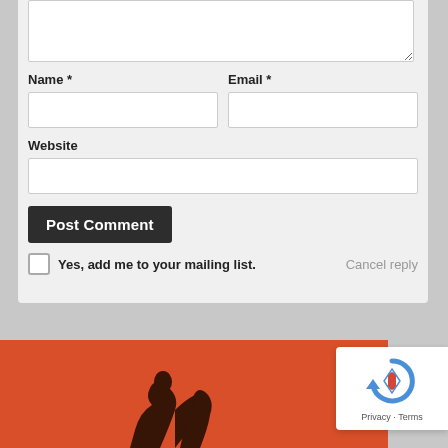Name *
Email *
Website
Post Comment
Yes, add me to your mailing list.
Cancel reply
[Figure (photo): Orange/red background with dark silhouette illustration, reCAPTCHA badge in lower right corner with Privacy and Terms text]